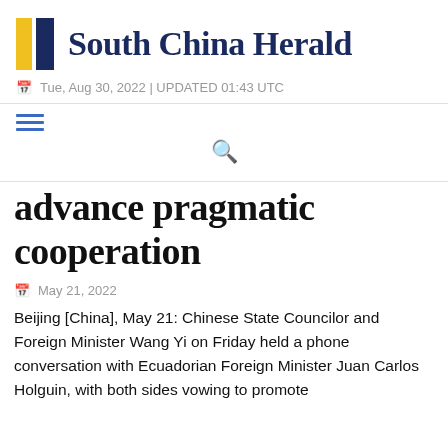South China Herald
Tue, Aug 30, 2022 | UPDATED 01:43 UTC
advance pragmatic cooperation
May 21, 2022
Beijing [China], May 21: Chinese State Councilor and Foreign Minister Wang Yi on Friday held a phone conversation with Ecuadorian Foreign Minister Juan Carlos Holguin, with both sides vowing to promote